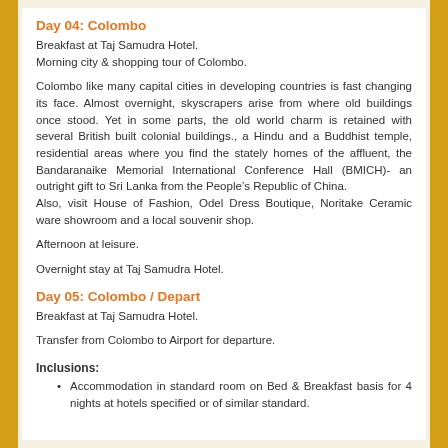Day 04: Colombo
Breakfast at Taj Samudra Hotel.
Morning city & shopping tour of Colombo.
Colombo like many capital cities in developing countries is fast changing its face. Almost overnight, skyscrapers arise from where old buildings once stood. Yet in some parts, the old world charm is retained with several British built colonial buildings., a Hindu and a Buddhist temple, residential areas where you find the stately homes of the affluent, the Bandaranaike Memorial International Conference Hall (BMICH)- an outright gift to Sri Lanka from the People's Republic of China.
Also, visit House of Fashion, Odel Dress Boutique, Noritake Ceramic ware showroom and a local souvenir shop.
Afternoon at leisure.
Overnight stay at Taj Samudra Hotel.
Day 05: Colombo / Depart
Breakfast at Taj Samudra Hotel.
Transfer from Colombo to Airport for departure.
Inclusions:
Accommodation in standard room on Bed & Breakfast basis for 4 nights at hotels specified or of similar standard.